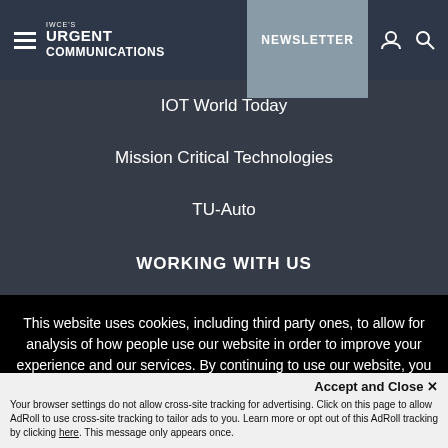IWCE's URGENT COMMUNICATIONS | NEWSLETTER
IOT World Today
Mission Critical Technologies
TU-Auto
WORKING WITH US
About Us
This website uses cookies, including third party ones, to allow for analysis of how people use our website in order to improve your experience and our services. By continuing to use our website, you agree to the use of such cookies. Click here for more information on our Cookie Policy and Privacy Policy
Accept and Close ×
Your browser settings do not allow cross-site tracking for advertising. Click on this page to allow AdRoll to use cross-site tracking to tailor ads to you. Learn more or opt out of this AdRoll tracking by clicking here. This message only appears once.